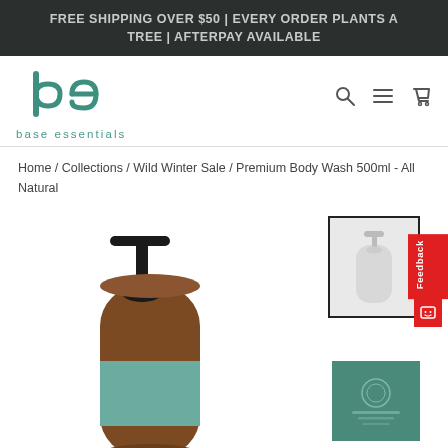FREE SHIPPING OVER $50 | EVERY ORDER PLANTS A TREE | AFTERPAY AVAILABLE
[Figure (logo): Base Essentials logo with stylized 'be' in teal and 'base essentials' text below]
Home / Collections / Wild Winter Sale / Premium Body Wash 500ml - All Natural
[Figure (photo): Premium Body Wash 500ml amber bottle with black pump dispenser and teal label]
[Figure (photo): Thumbnail of white/clear body wash bottle]
[Figure (photo): Thumbnail of teal product card/packaging]